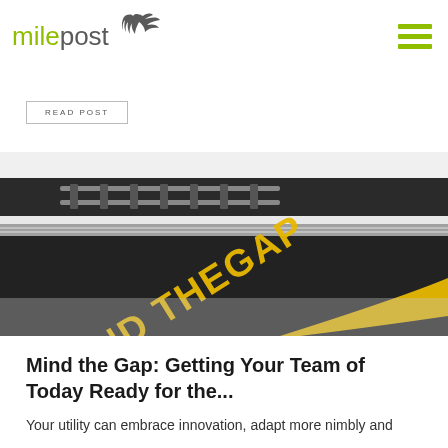milepost
READ POST
[Figure (photo): Close-up photograph of a subway/rail platform with 'MIND THE GAP' written in bold yellow letters on a dark textured surface, with railway tracks visible in the background.]
Mind the Gap: Getting Your Team of Today Ready for the...
Your utility can embrace innovation, adapt more nimbly and